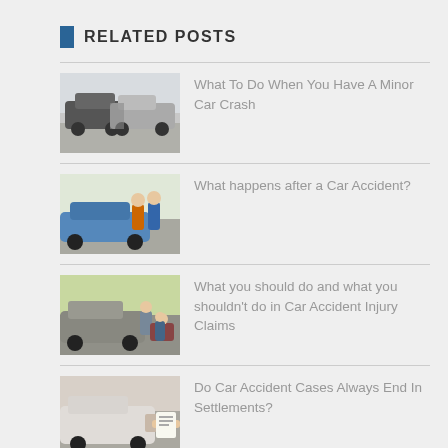RELATED POSTS
What To Do When You Have A Minor Car Crash
What happens after a Car Accident?
What you should do and what you shouldn't do in Car Accident Injury Claims
Do Car Accident Cases Always End In Settlements?